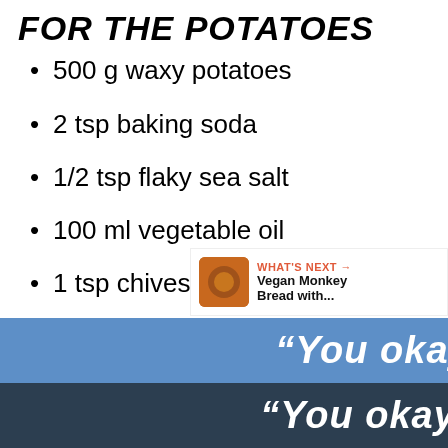FOR THE POTATOES
500 g waxy potatoes
2 tsp baking soda
1/2 tsp flaky sea salt
100 ml vegetable oil
1 tsp chives, (finely chopped)
Get Ingredients
Powered by chicory
“You okay?”
“You okay?”